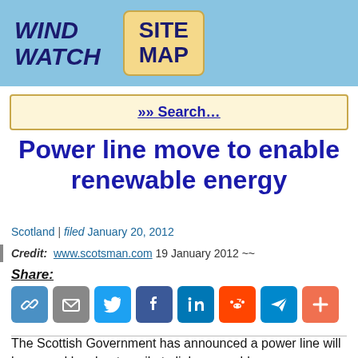WIND WATCH  SITE MAP
»» Search…
Power line move to enable renewable energy
Scotland | filed January 20, 2012
Credit: www.scotsman.com 19 January 2012 ~~
Share:
The Scottish Government has announced a power line will be moved by about a mile to link renewable energy developments to the grid.